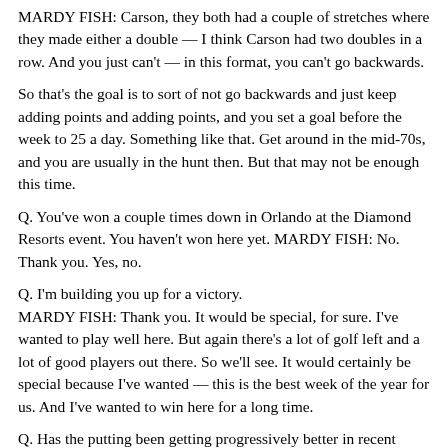MARDY FISH: Carson, they both had a couple of stretches where they made either a double — I think Carson had two doubles in a row. And you just can't — in this format, you can't go backwards.
So that's the goal is to sort of not go backwards and just keep adding points and adding points, and you set a goal before the week to 25 a day. Something like that. Get around in the mid-70s, and you are usually in the hunt then. But that may not be enough this time.
Q. You've won a couple times down in Orlando at the Diamond Resorts event. You haven't won here yet. MARDY FISH: No. Thank you. Yes, no.
Q. I'm building you up for a victory. MARDY FISH: Thank you. It would be special, for sure. I've wanted to play well here. But again there's a lot of golf left and a lot of good players out there. So we'll see. It would certainly be special because I've wanted — this is the best week of the year for us. And I've wanted to win here for a long time.
Q. Has the putting been getting progressively better in recent weeks, months, years? MARDY FISH: I've got a putting green at my house that we put in for my son. And he never goes down there and